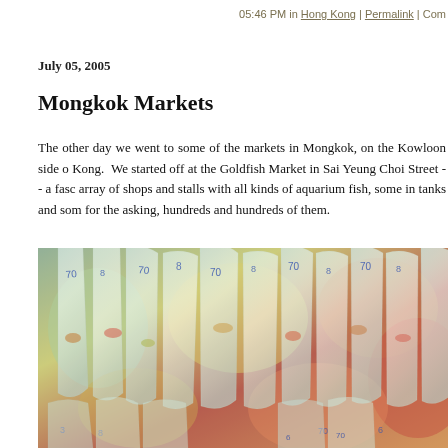05:46 PM in Hong Kong | Permalink | Com
July 05, 2005
Mongkok Markets
The other day we went to some of the markets in Mongkok, on the Kowloon side of Kong.  We started off at the Goldfish Market in Sai Yeung Choi Street -- a fasc array of shops and stalls with all kinds of aquarium fish, some in tanks and som for the asking, hundreds and hundreds of them.
[Figure (photo): Photo of many plastic bags filled with water and fish hanging at the Goldfish Market in Mongkok, Hong Kong. The bags are transparent and contain colorful fish, with blue markings/numbers visible on the bags.]